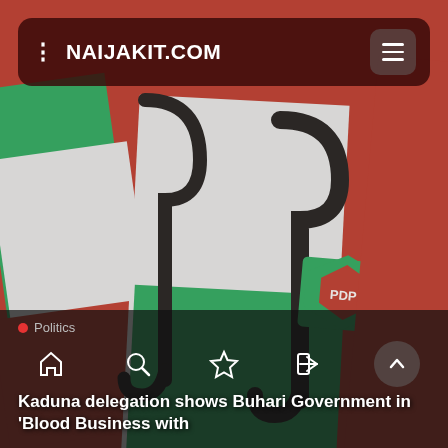[Figure (photo): PDP (Peoples Democratic Party) flags with green, white and red colors and party umbrella logo, blurred background photo]
NAIJAKIT.COM
Politics
Kaduna delegation shows Buhari Government in 'Blood Business with